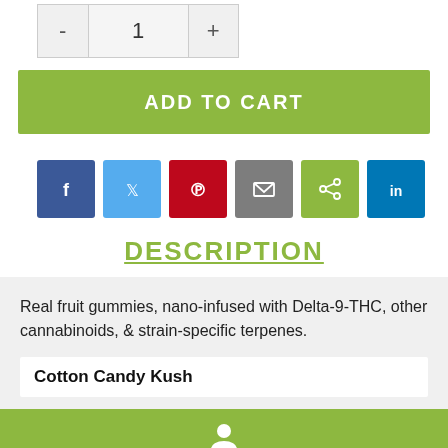[Figure (other): Quantity selector with minus button, value 1, and plus button]
ADD TO CART
[Figure (other): Social sharing buttons row: Facebook, Twitter, Pinterest, Email, Share, LinkedIn]
DESCRIPTION
Real fruit gummies, nano-infused with Delta-9-THC, other cannabinoids, & strain-specific terpenes.
Cotton Candy Kush
[Figure (other): Green footer bar with user/person icon]